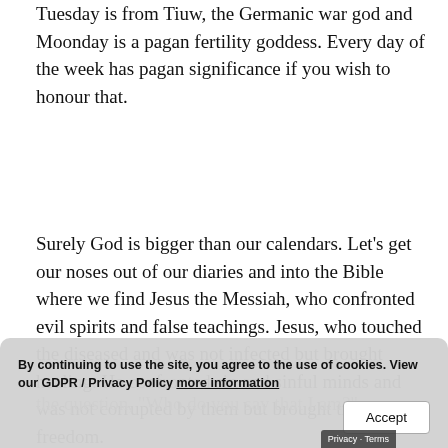Tuesday is from Tiuw, the Germanic war god and Moonday is a pagan fertility goddess. Every day of the week has pagan significance if you wish to honour that.
Surely God is bigger than our calendars. Let's get our noses out of our diaries and into the Bible where we find Jesus the Messiah, who confronted evil spirits and false teachings. Jesus, who touched the diseased and was not infected but brought healing. He confronted sin and sinful minds and was not corrupted by them but brought truth and freedom.
the question, "Who do you say that I am?"
By continuing to use the site, you agree to the use of cookies. View our GDPR / Privacy Policy more information